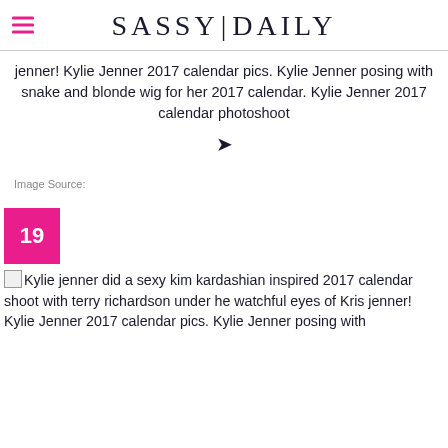SASSY|DAILY
jenner! Kylie Jenner 2017 calendar pics. Kylie Jenner posing with snake and blonde wig for her 2017 calendar. Kylie Jenner 2017 calendar photoshoot
Image Source:
19
Kylie jenner did a sexy kim kardashian inspired 2017 calendar shoot with terry richardson under he watchful eyes of Kris jenner! Kylie Jenner 2017 calendar pics. Kylie Jenner posing with